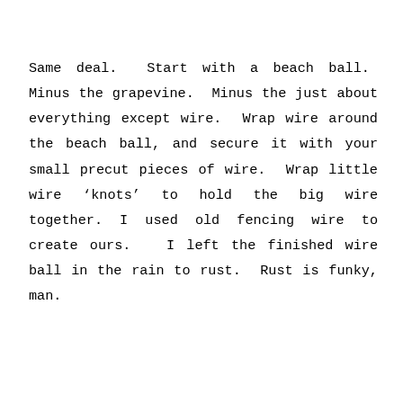Same deal.  Start with a beach ball.  Minus the grapevine.  Minus the just about everything except wire.  Wrap wire around the beach ball, and secure it with your small precut pieces of wire.  Wrap little wire ‘knots’ to hold the big wire together. I used old fencing wire to create ours.   I left the finished wire ball in the rain to rust.  Rust is funky, man.